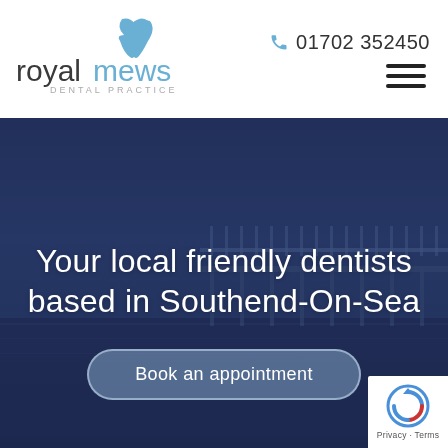[Figure (logo): Royal Mews Dental Practice logo — stylized apple/tooth shape in light blue with 'royalmews' text (royal in dark grey, mews in light blue) and 'DENTAL PRACTICE' subtitle in light grey spaced caps]
01702 352450
[Figure (photo): Hero banner showing a seaside pier structure at dusk/twilight with a dark navy blue overlay, featuring Southend-On-Sea pier silhouette against a dim sky reflected in water]
Your local friendly dentists based in Southend-On-Sea
Book an appointment